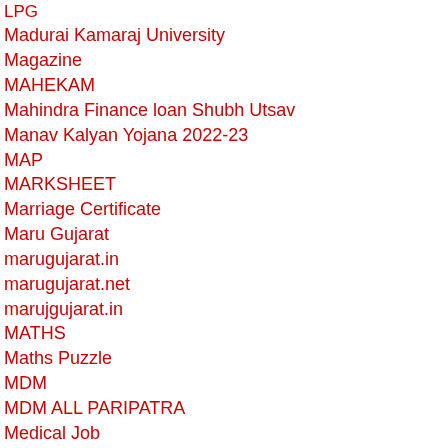LPG
Madurai Kamaraj University
Magazine
MAHEKAM
Mahindra Finance loan Shubh Utsav
Manav Kalyan Yojana 2022-23
MAP
MARKSHEET
Marriage Certificate
Maru Gujarat
marugujarat.in
marugujarat.net
marujgujarat.in
MATHS
Maths Puzzle
MDM
MDM ALL PARIPATRA
Medical Job
MERIT